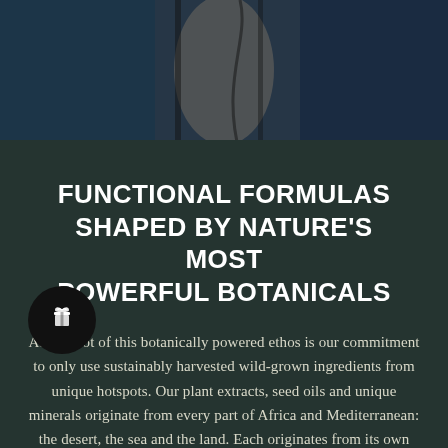[Figure (photo): Dark background image showing blurred botanical/plant elements, top portion of page]
FUNCTIONAL FORMULAS SHAPED BY NATURE'S MOST POWERFUL BOTANICALS
At the root of this botanically powered ethos is our commitment to only use sustainably harvested wild-grown ingredients from unique hotspots. Our plant extracts, seed oils and unique minerals originate from every part of Africa and Mediterranean: the desert, the sea and the land. Each originates from its own eco-zones, which long ago adapted to harsh climatic conditions.
[Figure (illustration): Gift/reward icon in a black circle, bottom left overlay]
[Figure (other): Yellow/gold CTA button at bottom center, partially visible]